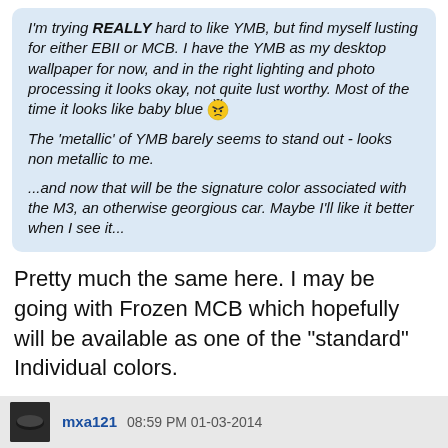I'm trying REALLY hard to like YMB, but find myself lusting for either EBII or MCB. I have the YMB as my desktop wallpaper for now, and in the right lighting and photo processing it looks okay, not quite lust worthy. Most of the time it looks like baby blue 😠
The 'metallic' of YMB barely seems to stand out - looks non metallic to me.

...and now that will be the signature color associated with the M3, an otherwise georgious car. Maybe I'll like it better when I see it...
Pretty much the same here. I may be going with Frozen MCB which hopefully will be available as one of the "standard" Individual colors.
Best regards,
south
mxa121 08:59 PM 01-03-2014